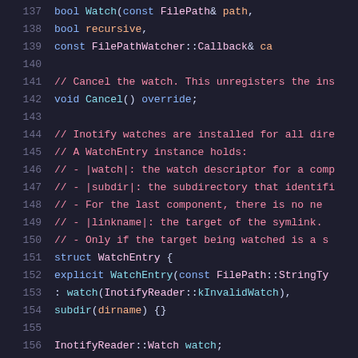Source code listing lines 137-157, C++ header file with InotifyWatcher class methods and WatchEntry struct definition